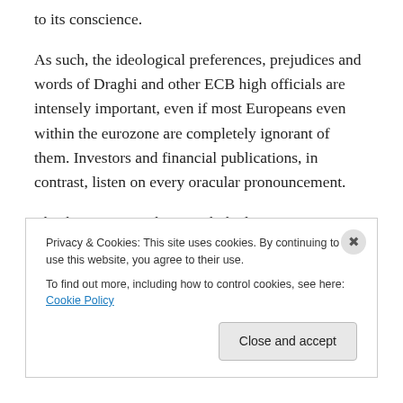to its conscience.
As such, the ideological preferences, prejudices and words of Draghi and other ECB high officials are intensely important, even if most Europeans even within the eurozone are completely ignorant of them. Investors and financial publications, in contrast, listen on every oracular pronouncement.
This brings us to what Draghi had to say in an enlightening interview with the Wall Street Journal when asked about his assessment Greece's austerity measures, given the
Privacy & Cookies: This site uses cookies. By continuing to use this website, you agree to their use.
To find out more, including how to control cookies, see here: Cookie Policy